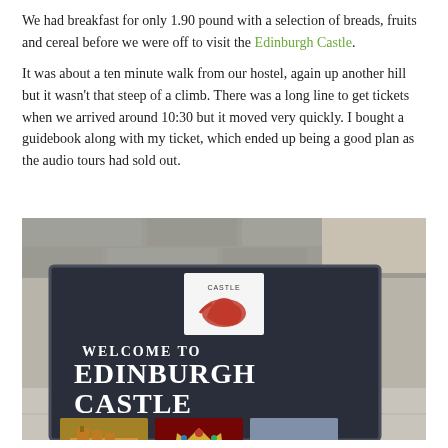We had breakfast for only 1.90 pound with a selection of breads, fruits and cereal before we were off to visit the Edinburgh Castle.

It was about a ten minute walk from our hostel, again up another hill but it wasn't that steep of a climb. There was a long line to get tickets when we arrived around 10:30 but it moved very quickly. I bought a guidebook along with my ticket, which ended up being a good plan as the audio tours had sold out.
[Figure (photo): Photo of an Edinburgh Castle welcome sign/board on a pavement. The dark blue/navy sign reads 'WELCOME TO EDINBURGH CASTLE' in large white lettering. A white logo card at the top shows a red lion with 'CASTLE' text. At the bottom of the sign are three smaller photos: the castle building facade, a jeweled crown, and a cannon. A stone wall and a person's arm are visible in the background.]